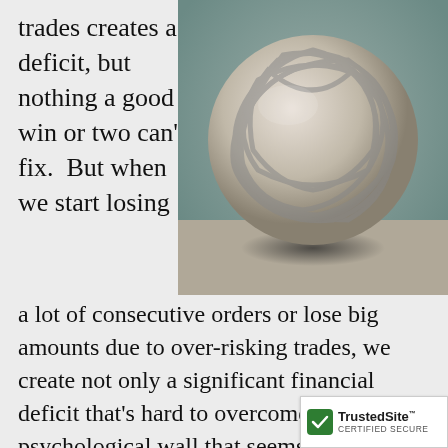trades creates a deficit, but nothing a good win or two can't fix.  But when we start losing
[Figure (photo): A spherical ball made of interlocking chain links, resting on a dark surface against a grey-green background.]
a lot of consecutive orders or lose big amounts due to over-risking trades, we create not only a significant financial deficit that's hard to overcome but also a psychological wall that seems overwhelming. You start trying to make back too much on each trade, just like batters start working to hit home runs at every bat. Instead of p